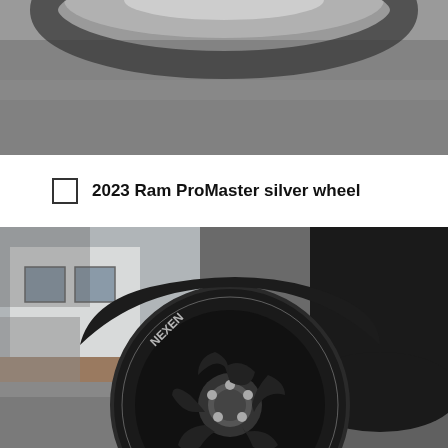[Figure (photo): Close-up of a silver wheel / tire on a Ram ProMaster van, shot from above on pavement — top portion of the wheel visible]
2023 Ram ProMaster silver wheel
[Figure (photo): Close-up ground-level view of a black alloy wheel with Nexen tire on a dark-colored Ram ProMaster van parked on pavement, building visible in background]